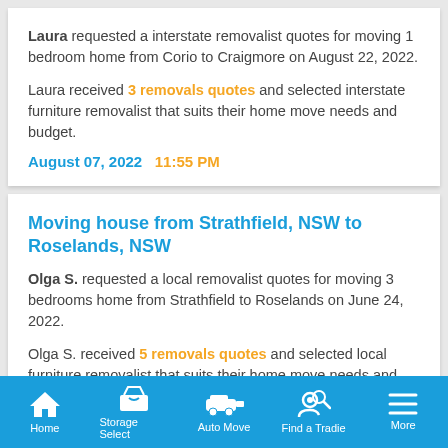Laura requested a interstate removalist quotes for moving 1 bedroom home from Corio to Craigmore on August 22, 2022.
Laura received 3 removals quotes and selected interstate furniture removalist that suits their home move needs and budget.
August 07, 2022   11:55 PM
Moving house from Strathfield, NSW to Roselands, NSW
Olga S. requested a local removalist quotes for moving 3 bedrooms home from Strathfield to Roselands on June 24, 2022.
Olga S. received 5 removals quotes and selected local furniture removalist that suits their home move needs and budget.
Home  Storage Select  Auto Move  Find a Tradie  More